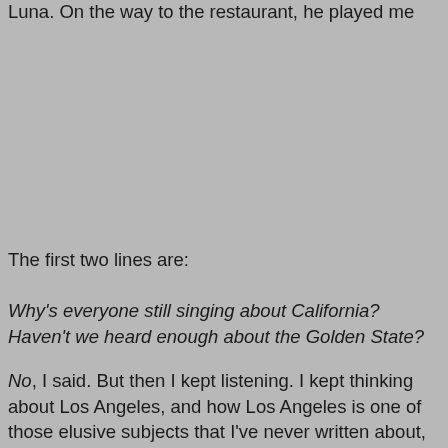Luna. On the way to the restaurant, he played me this song.
[Figure (other): Large gray blank/placeholder image block]
The first two lines are:
Why’s everyone still singing about California?
Haven’t we heard enough about the Golden State?
No, I said. But then I kept listening. I kept thinking about Los Angeles, and how Los Angeles is one of those elusive subjects that I’ve never written about, or not really. I kept thinking about how the Los Angeles poem--or essay or